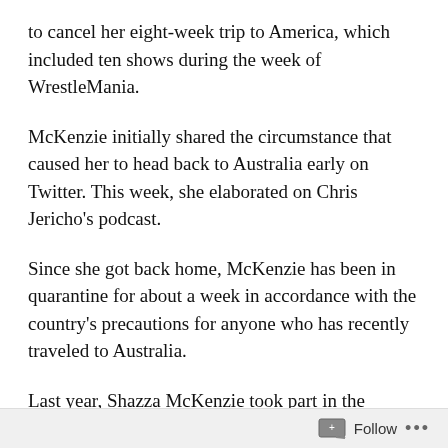to cancel her eight-week trip to America, which included ten shows during the week of WrestleMania.
McKenzie initially shared the circumstance that caused her to head back to Australia early on Twitter. This week, she elaborated on Chris Jericho's podcast.
Since she got back home, McKenzie has been in quarantine for about a week in accordance with the country's precautions for anyone who has recently traveled to Australia.
Last year, Shazza McKenzie took part in the AEW's Women's Casino Battle Royale at Double or Nothing. For the past eight years, she has ventured to the US in hopes to make a name for herself here. Unfortunately, the current pandemic crisis caused her to miss out on 32
Follow ...